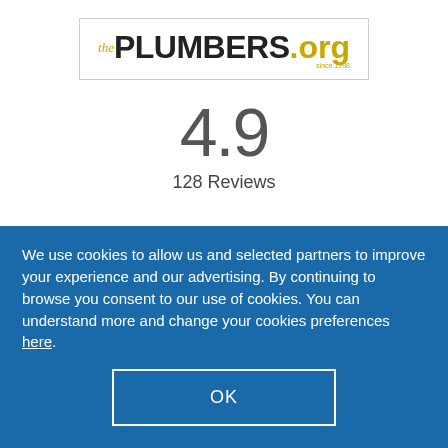[Figure (logo): thePLUMBERS.org logo in a bordered box with yellow 'the' prefix, black PLUMBERS text, and yellow .org text]
4.9
128 Reviews
We use cookies to allow us and selected partners to improve your experience and our advertising. By continuing to browse you consent to our use of cookies. You can understand more and change your cookies preferences here.
OK